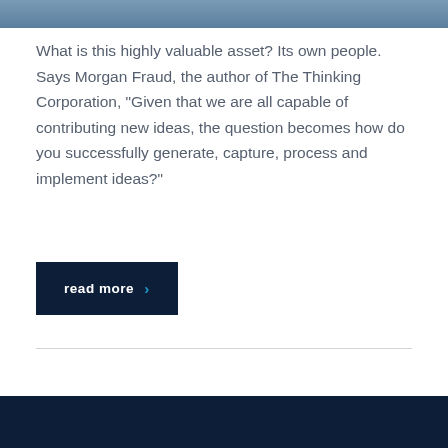[Figure (photo): Partial top image, grey-blue toned background photo, cropped at top of page]
What is this highly valuable asset? Its own people. Says Morgan Fraud, the author of The Thinking Corporation, “Given that we are all capable of contributing new ideas, the question becomes how do you successfully generate, capture, process and implement ideas?”
read more ›